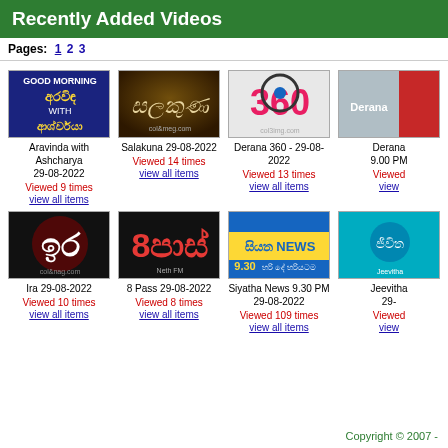Recently Added Videos
Pages: 1 2 3
[Figure (screenshot): Thumbnail: Good Morning Aravinda with Ashcharya - Sinhala text on dark blue background]
Aravinda with Ashcharya 29-08-2022
Viewed 9 times
view all items
[Figure (screenshot): Thumbnail: Salakuna - Sinhala styled text on dark golden background]
Salakuna 29-08-2022
Viewed 14 times
view all items
[Figure (screenshot): Thumbnail: Derana 360 - red and blue logo on light background]
Derana 360 - 29-08-2022
Viewed 13 times
view all items
[Figure (screenshot): Thumbnail: Derana 9.00 PM - partial view, red and blue]
Derana 9.00 PM
Viewed
view
[Figure (screenshot): Thumbnail: Ira - Sinhala numeral logo on black/red background]
Ira 29-08-2022
Viewed 10 times
view all items
[Figure (screenshot): Thumbnail: 8 Pass - bold red text on black background, Neth FM]
8 Pass 29-08-2022
Viewed 8 times
view all items
[Figure (screenshot): Thumbnail: Siyatha News 9.30 - yellow Sinhala text on blue background]
Siyatha News 9.30 PM 29-08-2022
Viewed 109 times
view all items
[Figure (screenshot): Thumbnail: Jeevitha - blue floral background, Sinhala text]
Jeevitha 29-
Viewed
view
Copyright © 2007 -